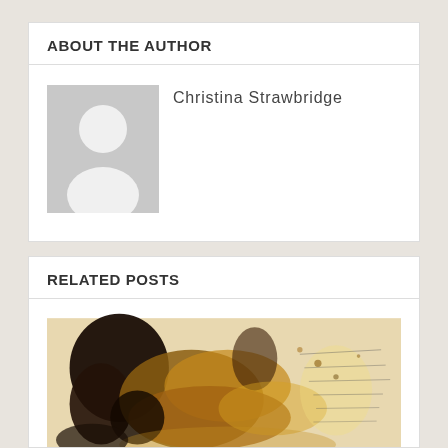ABOUT THE AUTHOR
[Figure (photo): Generic avatar placeholder showing a silhouetted person icon on a gray background]
Christina Strawbridge
RELATED POSTS
[Figure (photo): Abstract painting or mixed media artwork with dark black and brown organic shapes, golden-brown washes, and handwritten text on a light background]